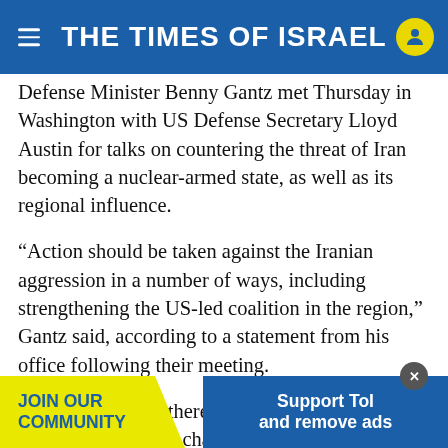THE TIMES OF ISRAEL
Defense Minister Benny Gantz met Thursday in Washington with US Defense Secretary Lloyd Austin for talks on countering the threat of Iran becoming a nuclear-armed state, as well as its regional influence.
“Action should be taken against the Iranian aggression in a number of ways, including strengthening the US-led coalition in the region,” Gantz said, according to a statement from his office following their meeting.
Gantz told Austin there was an opportunity to make a “significant change in the region” by strengthening alliances and deterring states acting with th